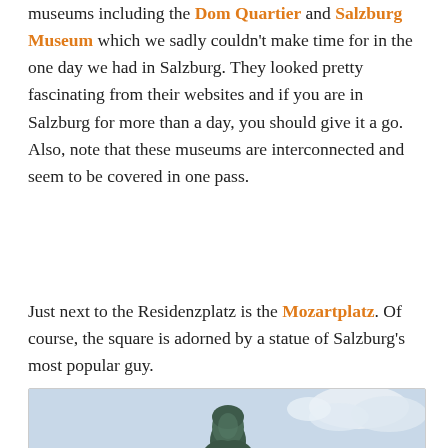museums including the Dom Quartier and Salzburg Museum which we sadly couldn't make time for in the one day we had in Salzburg. They looked pretty fascinating from their websites and if you are in Salzburg for more than a day, you should give it a go. Also, note that these museums are interconnected and seem to be covered in one pass.
Just next to the Residenzplatz is the Mozartplatz. Of course, the square is adorned by a statue of Salzburg's most popular guy.
[Figure (photo): Photo of the Mozart statue at Mozartplatz in Salzburg, showing the bronze bust/head of the statue against a partly cloudy blue sky.]